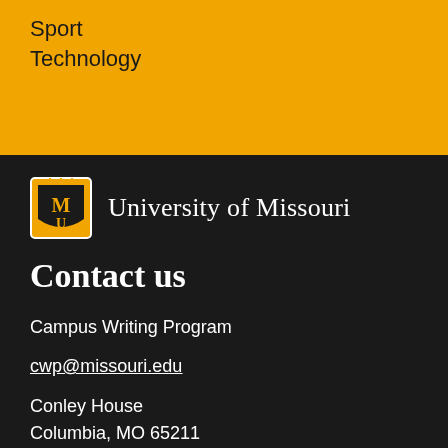Sport
Technology
[Figure (logo): University of Missouri MU shield logo with black and gold colors, next to the text 'University of Missouri']
Contact us
Campus Writing Program
cwp@missouri.edu
Conley House
Columbia, MO 65211
Phone: 573-882-4881